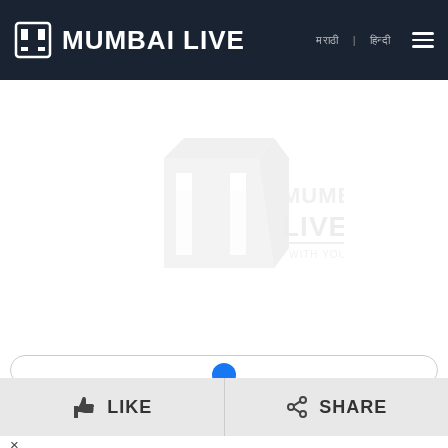MUMBAI LIVE
[Figure (logo): Mumbai Live watermark logo in light grey, centered in the content area]
[Figure (other): Partially visible rounded container bar]
LIKE
SHARE
×